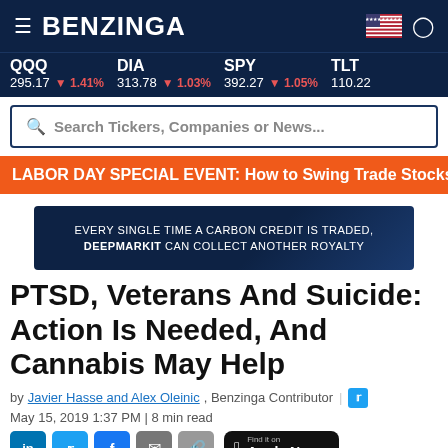BENZINGA
QQQ 295.17 ▼ 1.41% | DIA 313.78 ▼ 1.03% | SPY 392.27 ▼ 1.05% | TLT 110.22
Search Tickers, Companies or News...
LABOR DAY SPECIAL EVENT: How to Swing Trade Stocks
[Figure (infographic): Advertisement banner: EVERY SINGLE TIME A CARBON CREDIT IS TRADED, DEEPMARKIT CAN COLLECT ANOTHER ROYALTY]
PTSD, Veterans And Suicide: Action Is Needed, And Cannabis May Help
by Javier Hasse and Alex Oleinic, Benzinga Contributor
May 15, 2019 1:37 PM | 8 min read
Find it on Apple News